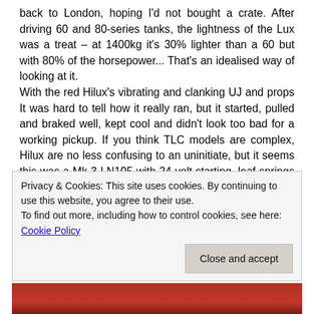back to London, hoping I'd not bought a crate. After driving 60 and 80-series tanks, the lightness of the Lux was a treat – at 1400kg it's 30% lighter than a 60 but with 80% of the horsepower... That's an idealised way of looking at it.
With the red Hilux's vibrating and clanking UJ and props It was hard to tell how it really ran, but it started, pulled and braked well, kept cool and didn't look too bad for a working pickup. If you think TLC models are complex, Hilux are no less confusing to an uninitiate, but it seems this was a Mk 3 LN105 with 24-volt starting, leaf springs with a 4-cylinder 2.5 non-turbo engine (the turbo 2.5s found on Surfs etc are said to be head crackers). It could be the same model as the
Privacy & Cookies: This site uses cookies. By continuing to use this website, you agree to their use.
To find out more, including how to control cookies, see here: Cookie Policy
Close and accept
[Figure (photo): Bottom portion of a photo showing a red vehicle, partially visible]